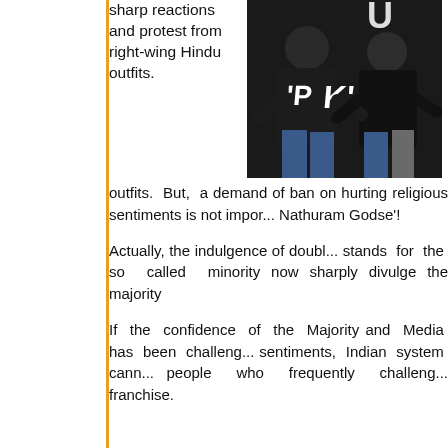sharp reactions and protest from right-wing Hindu outfits.
[Figure (photo): Photo showing people wearing dark hoodies with 'PK' text visible on clothing]
But, a demand of ban on hurting religious sentiments is not important as 'Nathuram Godse'!
Actually, the indulgence of double standards for the so called minority now sharply divulge the majority
If the confidence of the Majority and Media has been challenged sentiments, Indian system cannot people who frequently challenge franchise.